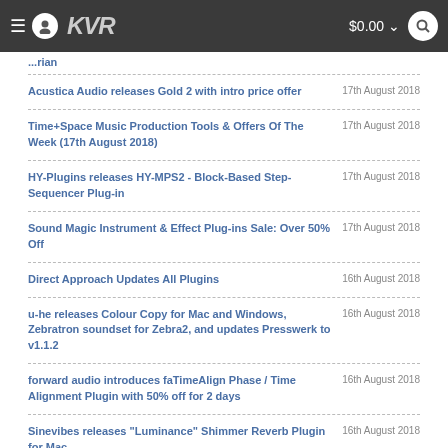KVR Audio — $0.00
...rian
Acustica Audio releases Gold 2 with intro price offer — 17th August 2018
Time+Space Music Production Tools & Offers Of The Week (17th August 2018) — 17th August 2018
HY-Plugins releases HY-MPS2 - Block-Based Step-Sequencer Plug-in — 17th August 2018
Sound Magic Instrument & Effect Plug-ins Sale: Over 50% Off — 17th August 2018
Direct Approach Updates All Plugins — 16th August 2018
u-he releases Colour Copy for Mac and Windows, Zebratron soundset for Zebra2, and updates Presswerk to v1.1.2 — 16th August 2018
forward audio introduces faTimeAlign Phase / Time Alignment Plugin with 50% off for 2 days — 16th August 2018
Sinevibes releases "Luminance" Shimmer Reverb Plugin for Mac — 16th August 2018